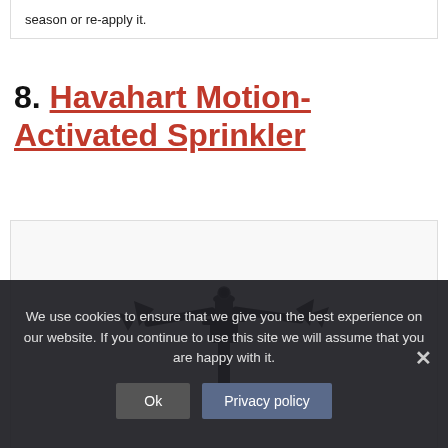season or re-apply it.
8. Havahart Motion-Activated Sprinkler
[Figure (photo): Photo of a Havahart motion-activated sprinkler device, black in color, showing its rotating head and spray arms mounted on a stake]
We use cookies to ensure that we give you the best experience on our website. If you continue to use this site we will assume that you are happy with it.
Ok   Privacy policy